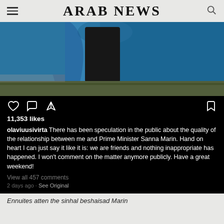ARAB NEWS
[Figure (screenshot): Instagram post screenshot showing a person standing in front of a blue wall/door, wearing dark clothing. Below the photo are Instagram action icons (heart, comment, share, bookmark), 11,353 likes, and a caption by olaviuusivirta reading: 'There has been speculation in the public about the quality of the relationship between me and Prime Minister Sanna Marin. Hand on heart I can just say it like it is: we are friends and nothing inappropriate has happened. I won't comment on the matter anymore publicly. Have a great weekend!' followed by 'View all 457 comments' and '2 days ago · See Original'.]
There has been speculation in the public about the quality of the relationship between me and Prime Minister Sanna Marin. Hand on heart I can just say it like it is: we are friends and nothing inappropriate has happened. I won't comment on the matter anymore publicly. Have a great weekend!